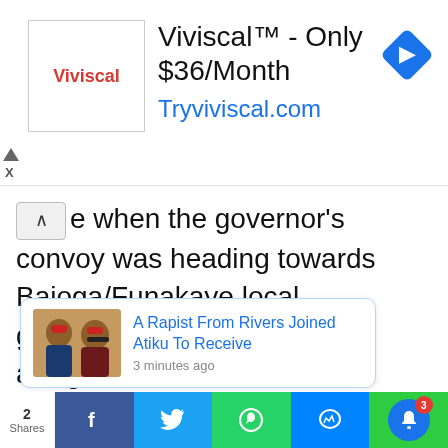[Figure (screenshot): Viviscal advertisement banner showing Viviscal logo, headline 'Viviscal™ - Only $36/Month', URL 'Tryviviscal.com', and a blue navigation diamond icon]
e when the governor's convoy was heading towards Bajoga/Funakaye local government for an official assignment.
[Figure (screenshot): Notification popup showing a news thumbnail of two men, headline 'A Rapist From Rivers Joined Atiku To Receive', timestamp '3 minutes ago']
[Figure (screenshot): Bottom social sharing bar with Shares count 2, Facebook, Twitter, WhatsApp, Messenger, and bell notification buttons]